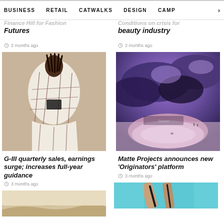BUSINESS  RETAIL  CATWALKS  DESIGN  CAMP >
Futures
2 months ago
beauty industry
2 months ago
[Figure (photo): Fashion model wearing plaid cape/coat in beige tones]
[Figure (photo): Surreal artistic image of pink lake with dramatic purple and blue cloudy sky]
G-III quarterly sales, earnings surge; increases full-year guidance
3 months ago
Matte Projects announces new 'Originators' platform
3 months ago
[Figure (photo): Sandy desert landscape with dunes]
[Figure (photo): Close-up of hands or fashion accessories on teal background]